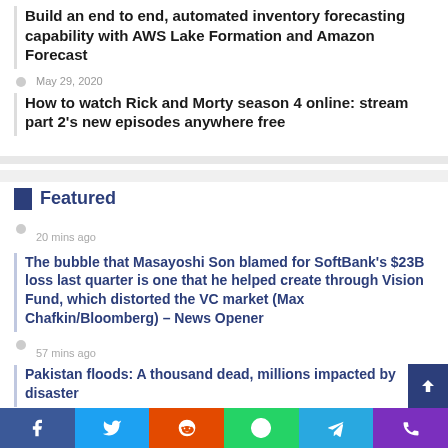Build an end to end, automated inventory forecasting capability with AWS Lake Formation and Amazon Forecast
May 29, 2020
How to watch Rick and Morty season 4 online: stream part 2's new episodes anywhere free
Featured
20 mins ago
The bubble that Masayoshi Son blamed for SoftBank's $23B loss last quarter is one that he helped create through Vision Fund, which distorted the VC market (Max Chafkin/Bloomberg) – News Opener
57 mins ago
Pakistan floods: A thousand dead, millions impacted by disaster
2 hours ago